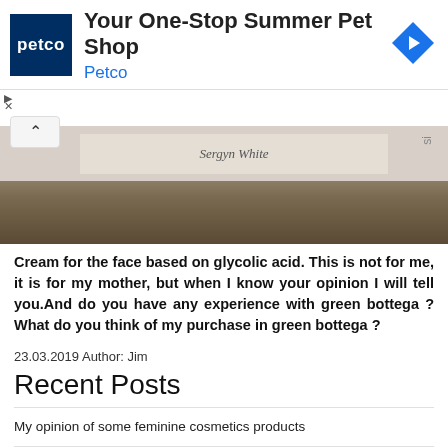[Figure (screenshot): Petco advertisement banner: logo, headline 'Your One-Stop Summer Pet Shop', subline 'Petco', blue diamond navigation icon, ad controls]
[Figure (photo): Partial photo of cosmetic products on a surface with straw/hay background, showing a label with script text]
Cream for the face based on glycolic acid. This is not for me, it is for my mother, but when I know your opinion I will tell you.And do you have any experience with green bottega ? What do you think of my purchase in green bottega ?
23.03.2019 Author: Jim
Recent Posts
My opinion of some feminine cosmetics products
Very useful applications for android
Valentine's gifts
MANICURE FLAGS
My manicures failed!